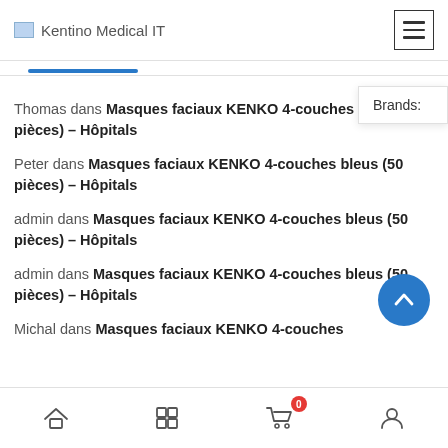Kentino Medical IT
Thomas dans Masques faciaux KENKO 4-couches bleus (50 pièces) – Hôpitals
Peter dans Masques faciaux KENKO 4-couches bleus (50 pièces) – Hôpitals
admin dans Masques faciaux KENKO 4-couches bleus (50 pièces) – Hôpitals
admin dans Masques faciaux KENKO 4-couches bleus (50 pièces) – Hôpitals
Michal dans Masques faciaux KENKO 4-couches
Brands:
Home | Grid | Cart (0) | Profile